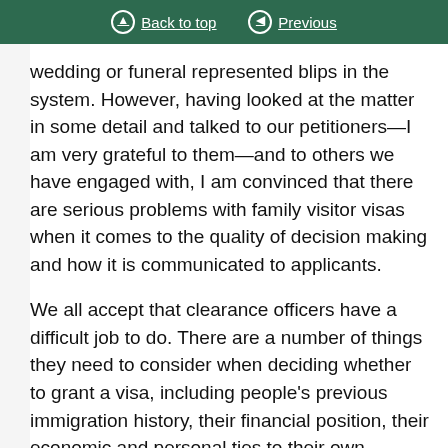Back to top  Previous
wedding or funeral represented blips in the system. However, having looked at the matter in some detail and talked to our petitioners—I am very grateful to them—and to others we have engaged with, I am convinced that there are serious problems with family visitor visas when it comes to the quality of decision making and how it is communicated to applicants.
We all accept that clearance officers have a difficult job to do. There are a number of things they need to consider when deciding whether to grant a visa, including people's previous immigration history, their financial position, their economic and personal ties to their own country and whether they have been here so often that it constitutes de facto